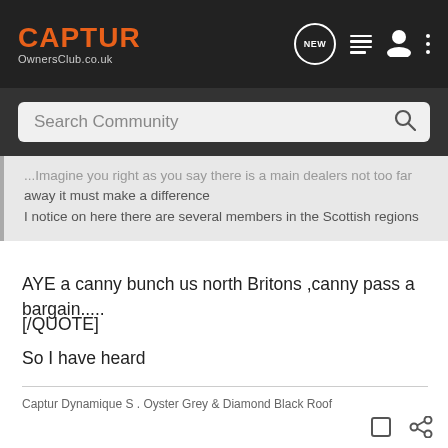CAPTUR OwnersClub.co.uk
Search Community
...away it must make a difference
I notice on here there are several members in the Scottish regions
AYE a canny bunch us north Britons ,canny pass a bargain.....
[/QUOTE]
So I have heard
Captur Dynamique S . Oyster Grey & Diamond Black Roof